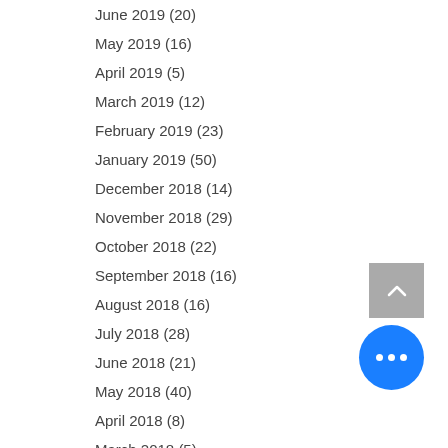June 2019 (20)
May 2019 (16)
April 2019 (5)
March 2019 (12)
February 2019 (23)
January 2019 (50)
December 2018 (14)
November 2018 (29)
October 2018 (22)
September 2018 (16)
August 2018 (16)
July 2018 (28)
June 2018 (21)
May 2018 (40)
April 2018 (8)
March 2018 (5)
January 2018 (1)
December 2017 (3)
November 2017 (2)